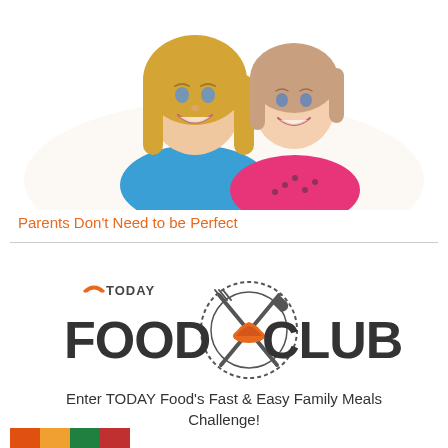[Figure (photo): Photo of a smiling blonde woman in a blue top with a young girl in a pink polka-dot top, both smiling at the camera on a white background.]
Parents Don't Need to be Perfect
[Figure (logo): TODAY Food Club logo - circular emblem with crossed fork and knife, orange rainbow/sun arc, and bold text reading TODAY FOOD CLUB]
Enter TODAY Food's Fast & Easy Family Meals Challenge!
[Figure (photo): Small colorful food image at bottom left, partially visible]